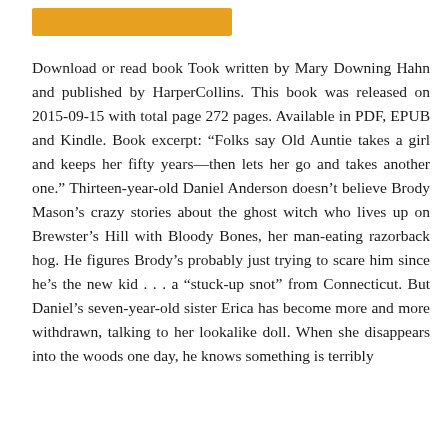[Figure (other): Orange/yellow horizontal bar at top of page]
Download or read book Took written by Mary Downing Hahn and published by HarperCollins. This book was released on 2015-09-15 with total page 272 pages. Available in PDF, EPUB and Kindle. Book excerpt: “Folks say Old Auntie takes a girl and keeps her fifty years—then lets her go and takes another one.” Thirteen-year-old Daniel Anderson doesn’t believe Brody Mason’s crazy stories about the ghost witch who lives up on Brewster’s Hill with Bloody Bones, her man-eating razorback hog. He figures Brody’s probably just trying to scare him since he’s the new kid . . . a “stuck-up snot” from Connecticut. But Daniel’s seven-year-old sister Erica has become more and more withdrawn, talking to her lookalike doll. When she disappears into the woods one day, he knows something is terribly